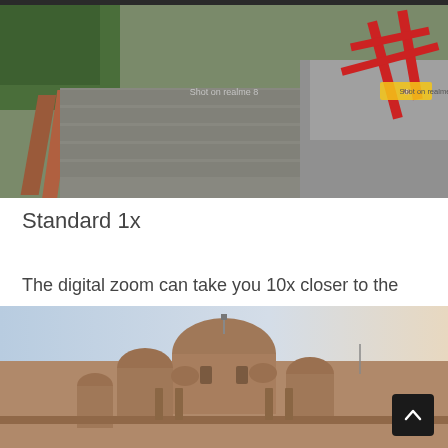[Figure (photo): Outdoor photo of a paved pathway with brick edging, green hedges on the left, and red metal barriers on the right. Watermark 'Shot on realme 8' visible in the center.]
Standard 1x
The digital zoom can take you 10x closer to the subject; however, details and accuracy remain pretty decent up to 2x.
[Figure (photo): Outdoor photo of a large historic building with multiple domes and ornate Mughal-style architecture, photographed at dusk with a pale sky background.]